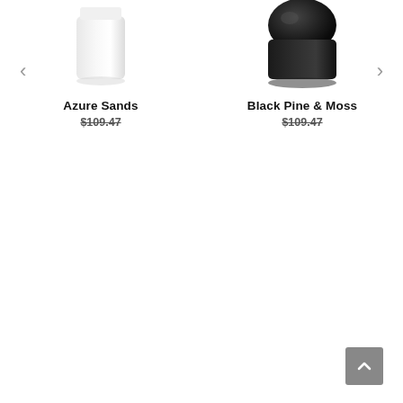[Figure (photo): White cylindrical product container (Azure Sands) partially cropped at top]
[Figure (photo): Dark/black round jar product container (Black Pine & Moss) partially cropped at top]
Azure Sands
$109.47
Black Pine & Moss
$109.47
[Figure (other): Back to top button (grey square with upward chevron arrow)]